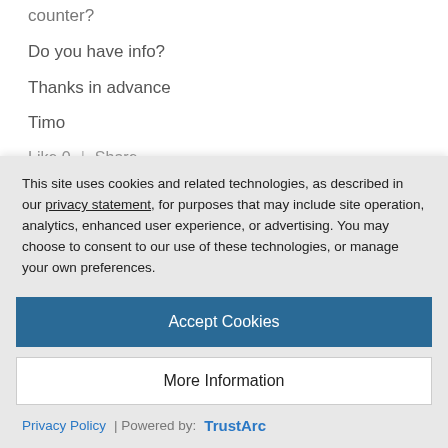counter?
Do you have info?
Thanks in advance
Timo
Like 0  |  Share
Martin Dejl | Blog Post Author
This site uses cookies and related technologies, as described in our privacy statement, for purposes that may include site operation, analytics, enhanced user experience, or advertising. You may choose to consent to our use of these technologies, or manage your own preferences.
Accept Cookies
More Information
Privacy Policy | Powered by: TrustArc